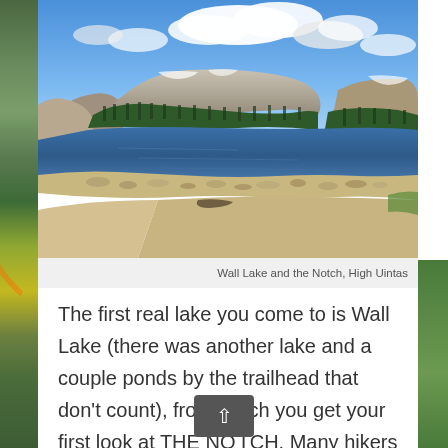[Figure (photo): Landscape photograph of Wall Lake and the Notch in the High Uintas. Shows a mountain lake with calm blue water, rocky shoreline in the foreground, dense conifer forest on slopes, and two rounded rocky mountain peaks under a blue sky with white clouds.]
Wall Lake and the Notch, High Uintas
The first real lake you come to is Wall Lake (there was another lake and a couple ponds by the trailhead that don’t count), from which you get your first look at THE NOTCH. Many hikers tremble